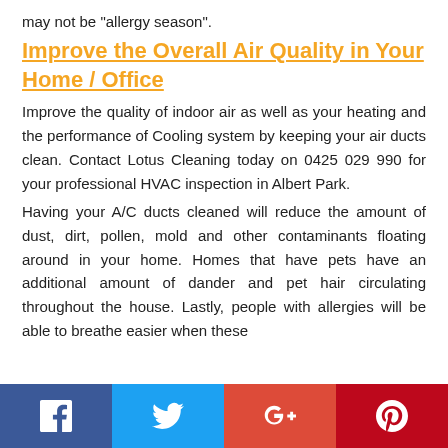may not be "allergy season".
Improve the Overall Air Quality in Your Home / Office
Improve the quality of indoor air as well as your heating and the performance of Cooling system by keeping your air ducts clean. Contact Lotus Cleaning today on 0425 029 990 for your professional HVAC inspection in Albert Park.
Having your A/C ducts cleaned will reduce the amount of dust, dirt, pollen, mold and other contaminants floating around in your home. Homes that have pets have an additional amount of dander and pet hair circulating throughout the house. Lastly, people with allergies will be able to breathe easier when these
[Figure (infographic): Social media sharing bar with Facebook, Twitter, Google+, and Pinterest buttons]